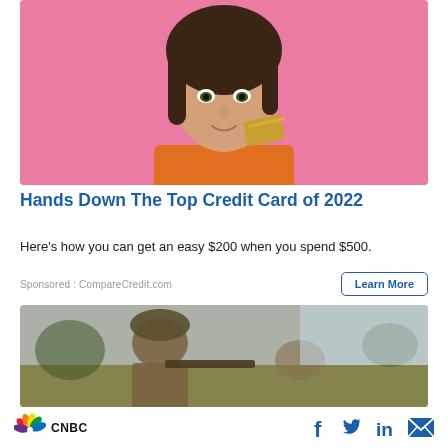[Figure (photo): Woman with dark hair holding a gold credit card against a pink background, smiling]
Hands Down The Top Credit Card of 2022
Here's how you can get an easy $200 when you spend $500.
Sponsored : CompareCredit.com
[Figure (photo): Military soldier in camouflage gear with rifle, outdoor scene]
CNBC | Facebook | Twitter | LinkedIn | Email